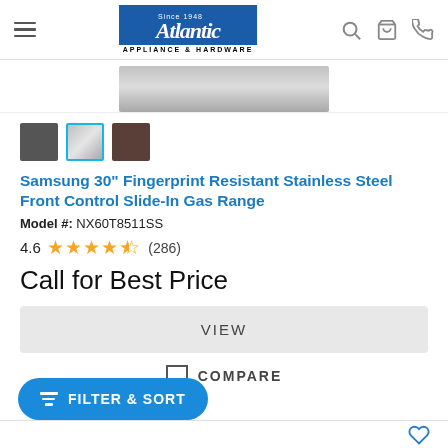[Figure (logo): Atlantic Appliance & Hardware logo — blue box with white italic serif 'Atlantic' text, 'Since 1948' above, 'APPLIANCE & HARDWARE' below on white background]
[Figure (photo): Partial product image — stainless steel front panel of a Samsung slide-in gas range]
[Figure (other): Three color swatches: dark gray, stainless steel (selected, blue border), dark brown]
Samsung 30" Fingerprint Resistant Stainless Steel Front Control Slide-In Gas Range
Model #: NX60T8511SS
4.6 ★★★★★ (286)
Call for Best Price
VIEW
COMPARE
[Figure (other): FILTER & SORT blue pill-shaped button with filter icon on bottom left]
[Figure (other): Bottom strip with heart/wishlist icon in blue on right side]